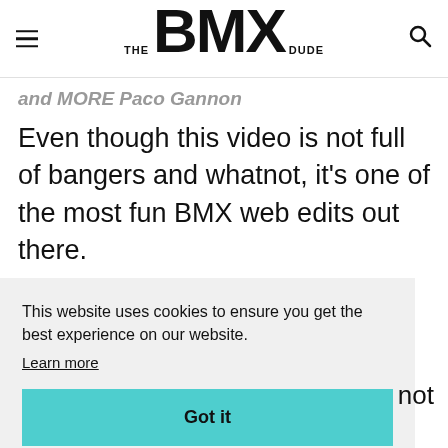THE BMX DUDE
and MORE Paco Gannon
Even though this video is not full of bangers and whatnot, it's one of the most fun BMX web edits out there.
This website uses cookies to ensure you get the best experience on our website. Learn more
Got it
not